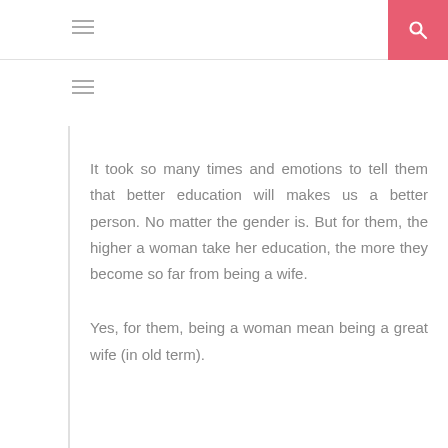It took so many times and emotions to tell them that better education will makes us a better person. No matter the gender is. But for them, the higher a woman take her education, the more they become so far from being a wife.
Yes, for them, being a woman mean being a great wife (in old term).